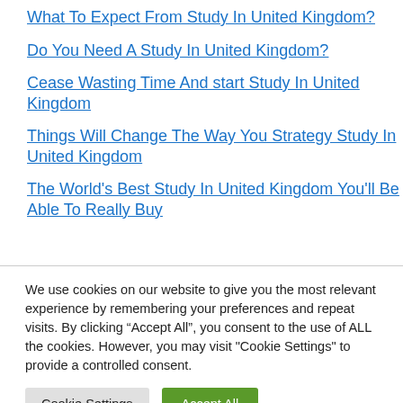What To Expect From Study In United Kingdom?
Do You Need A Study In United Kingdom?
Cease Wasting Time And start Study In United Kingdom
Things Will Change The Way You Strategy Study In United Kingdom
The World's Best Study In United Kingdom You'll Be Able To Really Buy
We use cookies on our website to give you the most relevant experience by remembering your preferences and repeat visits. By clicking “Accept All”, you consent to the use of ALL the cookies. However, you may visit "Cookie Settings" to provide a controlled consent.